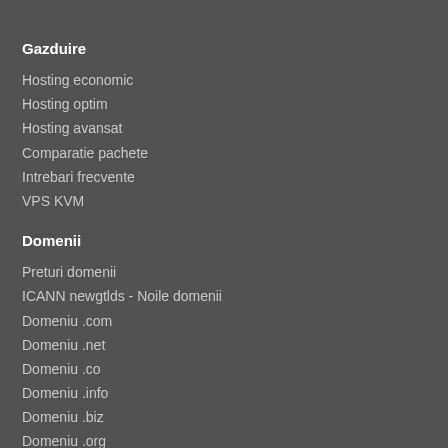Gazduire
Hosting economic
Hosting optim
Hosting avansat
Comparatie pachete
Intrebari frecvente
VPS KVM
Domenii
Preturi domenii
ICANN newgtlds - Noile domenii
Domeniu .com
Domeniu .net
Domeniu .co
Domeniu .info
Domeniu .biz
Domeniu .org
Domeniu .mobi
Navigare
Contul meu
Cont nou